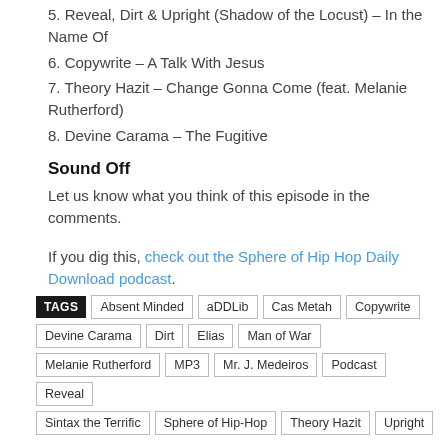5. Reveal, Dirt & Upright (Shadow of the Locust) – In the Name Of
6. Copywrite – A Talk With Jesus
7. Theory Hazit – Change Gonna Come (feat. Melanie Rutherford)
8. Devine Carama – The Fugitive
Sound Off
Let us know what you think of this episode in the comments.
If you dig this, check out the Sphere of Hip Hop Daily Download podcast.
TAGS: Absent Minded, aDDLib, Cas Metah, Copywrite, Devine Carama, Dirt, Elias, Man of War, Melanie Rutherford, MP3, Mr. J. Medeiros, Podcast, Reveal, Sintax the Terrific, Sphere of Hip-Hop, Theory Hazit, Upright